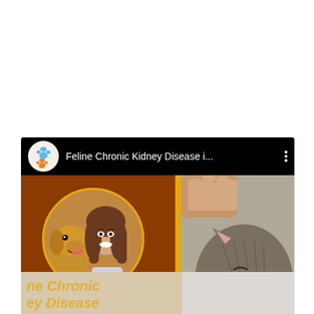[Figure (screenshot): YouTube video card showing 'Feline Chronic Kidney Disease i...' with a channel icon featuring colorful paw prints, a thumbnail with a brown background showing a woman with a golden retriever in a circular frame on the left, a yellow stripe, a cat being petted on the right, text 'ne Chronic / ey Disease' in gold italic at the bottom of the thumbnail, and a YouTube play button overlay. Below the card is a partial reflection showing 'ne Chronic' and 'ey Disease' text.]